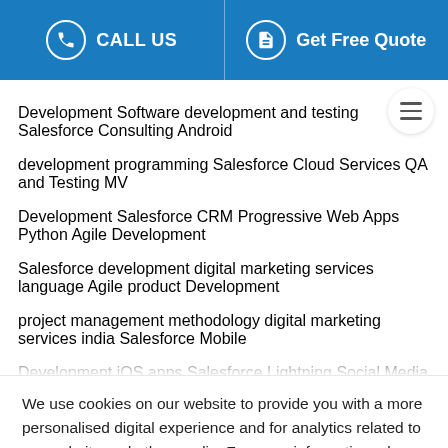CALL US | Get Free Quote
Development Software development and testing Salesforce Consulting Android development programming Salesforce Cloud Services QA and Testing MVP Development Salesforce CRM Progressive Web Apps Python Agile Development Salesforce development digital marketing services language Agile product Development project management methodology digital marketing services india Salesforce Mobile Development iOS apps Salesforce Lightning Social Media Marketing EmployeeEngagement enterprise data offshore mobile data security business analysts Salesforce cloud Joomla developers consulting software development outsourcing startups risk management Offshore software development services business
We use cookies on our website to provide you with a more personalised digital experience and for analytics related to our website and other media. For more information, please review our Privacy Policy and Cookies Policy.